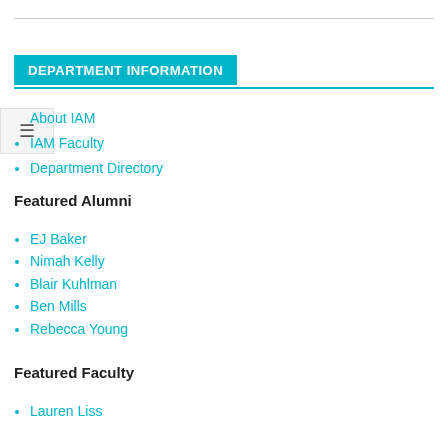DEPARTMENT INFORMATION
About IAM
IAM Faculty
Department Directory
Featured Alumni
EJ Baker
Nimah Kelly
Blair Kuhlman
Ben Mills
Rebecca Young
Featured Faculty
Lauren Liss